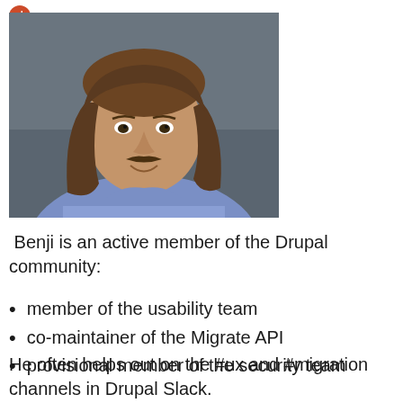[Figure (photo): Headshot of a middle-aged man with long brown hair and a mustache, wearing a blue shirt, smiling slightly against a dark grey background.]
Benji is an active member of the Drupal community:
member of the usability team
co-maintainer of the Migrate API
provisional member of the security team
He often helps out on the #ux and #migration channels in Drupal Slack.